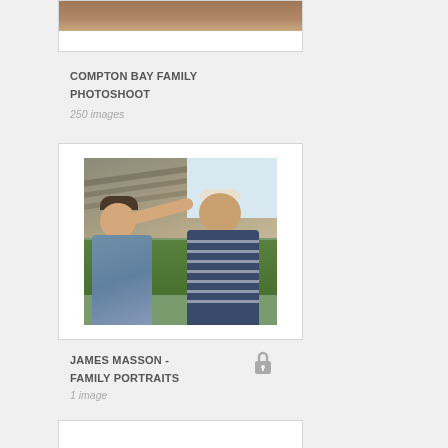[Figure (photo): Partial top of a gallery card showing a cropped outdoor photo (brown/earth tones), cut off at top of page]
COMPTON BAY FAMILY PHOTOSHOOT
250 images
[Figure (photo): Photo of an older woman and man outdoors near a thatched stone building. The woman is reaching her hand to touch the man's head and they are both laughing. Green foliage visible.]
JAMES MASSON - FAMILY PORTRAITS
1 image
[Figure (photo): Partial bottom gallery card, white with border, cut off at bottom of page]